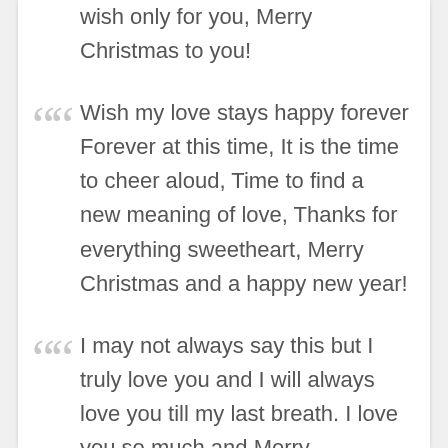wish only for you, Merry Christmas to you!
Wish my love stays happy forever Forever at this time, It is the time to cheer aloud, Time to find a new meaning of love, Thanks for everything sweetheart, Merry Christmas and a happy new year!
I may not always say this but I truly love you and I will always love you till my last breath. I love you so much and Merry Christmas!